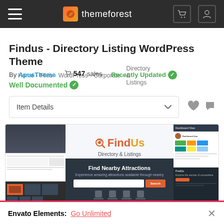themeforest
Home > Files > WordPress > Corporate > Directory & Listings
Findus - Directory Listing WordPress Theme
By ApusTheme  547 sales  Recently Updated  Well Documented
Item Details
[Figure (screenshot): Screenshot of the Findus Directory & Listings WordPress Theme preview page showing multiple theme layouts including a homepage with 'Find Nearby Attractions' search panel, dashboard view, and dark section panels.]
Envato Elements: Go Unlimited